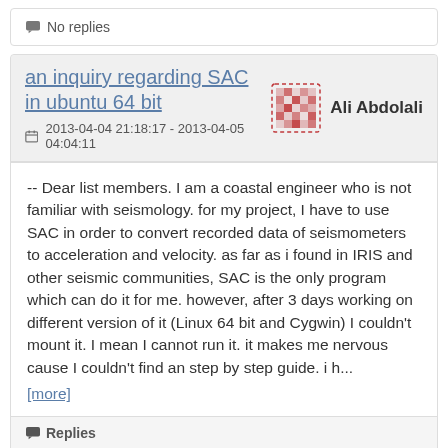No replies
an inquiry regarding SAC in ubuntu 64 bit
Ali Abdolali
2013-04-04 21:18:17 - 2013-04-05 04:04:11
-- Dear list members. I am a coastal engineer who is not familiar with seismology. for my project, I have to use SAC in order to convert recorded data of seismometers to acceleration and velocity. as far as i found in IRIS and other seismic communities, SAC is the only program which can do it for me. however, after 3 days working on different version of it (Linux 64 bit and Cygwin) I couldn't mount it. I mean I cannot run it. it makes me nervous cause I couldn't find an step by step guide. i h... [more]
Replies
Re: an inquiry regarding SAC in ubuntu 64 bit - Milton Plasencia - 2013-04-05 04:04:11